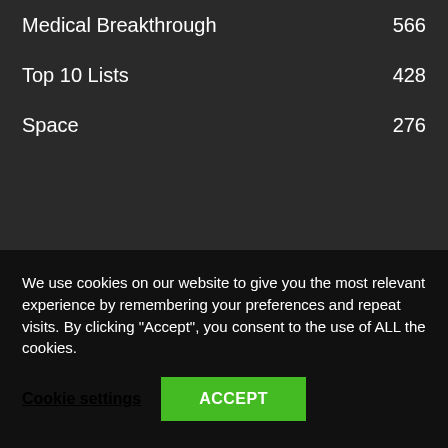Medical Breakthrough    566
Top 10 Lists    428
Space    276
[Figure (logo): Circular gear logo with blue and pink/magenta halves and a stylized letter A in the center, partially visible at bottom of dark background area]
We use cookies on our website to give you the most relevant experience by remembering your preferences and repeat visits. By clicking “Accept”, you consent to the use of ALL the cookies.
Cookie settings    ACCEPT